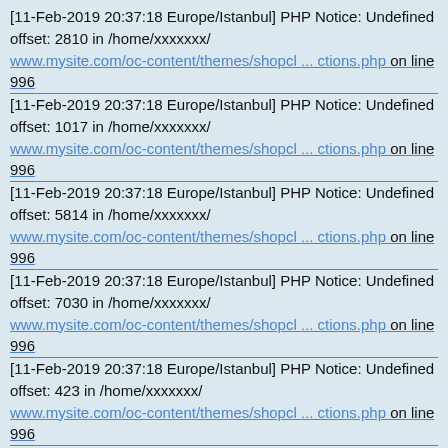[11-Feb-2019 20:37:18 Europe/Istanbul] PHP Notice: Undefined offset: 2810 in /home/xxxxxxx/
www.mysite.com/oc-content/themes/shopcl ... ctions.php on line 996
[11-Feb-2019 20:37:18 Europe/Istanbul] PHP Notice: Undefined offset: 1017 in /home/xxxxxxx/
www.mysite.com/oc-content/themes/shopcl ... ctions.php on line 996
[11-Feb-2019 20:37:18 Europe/Istanbul] PHP Notice: Undefined offset: 5814 in /home/xxxxxxx/
www.mysite.com/oc-content/themes/shopcl ... ctions.php on line 996
[11-Feb-2019 20:37:18 Europe/Istanbul] PHP Notice: Undefined offset: 7030 in /home/xxxxxxx/
www.mysite.com/oc-content/themes/shopcl ... ctions.php on line 996
[11-Feb-2019 20:37:18 Europe/Istanbul] PHP Notice: Undefined offset: 423 in /home/xxxxxxx/
www.mysite.com/oc-content/themes/shopcl ... ctions.php on line 996
[11-Feb-2019 20:37:18 Europe/Istanbul] PHP Notice: Undefined offset: 2933 in /home/xxxxxxx/
www.mysite.com/oc-content/themes/shopcl ... ctions.php on line 996
[11-Feb-2019 20:37:18 Europe/Istanbul] PHP Notice: Undefined offset: 6964 in /home/xxxxxxx/
www.mysite.com/oc-content/themes/shopcl ... ctions.php on line 996
[11-Feb-2019 20:37:18 Europe/Istanbul] PHP Notice: Undefined offset: 467 in /home/xxxxxxx/
www.mysite.com/oc-content/themes/shopcl ... ctions.php on line 996
[11-Feb-2019 20:37:18 Europe/Istanbul] PHP Notice: Undefined offset: